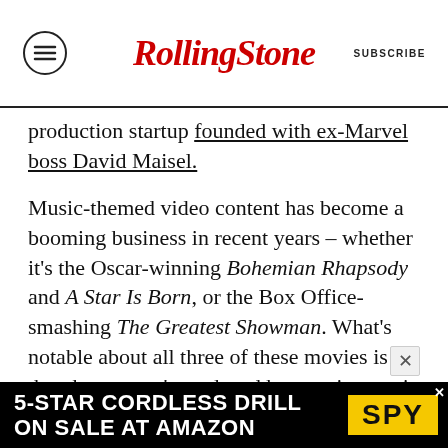RollingStone — SUBSCRIBE
production startup founded with ex-Marvel boss David Maisel.
Music-themed video content has become a booming business in recent years – whether it's the Oscar-winning Bohemian Rhapsody and A Star Is Born, or the Box Office-smashing The Greatest Showman. What's notable about all three of these movies is that they weren't produced by a major music rights company: Bohemian Rhapsody was 20th Century Fox / Regency et al.; A Star Is Born was Warner Bros Pictures / MGM / Live Nation Productions et al.; and The Greatest Showman was Laurence Mark
[Figure (screenshot): Advertisement banner: 5-STAR CORDLESS DRILL ON SALE AT AMAZON with SPY logo]